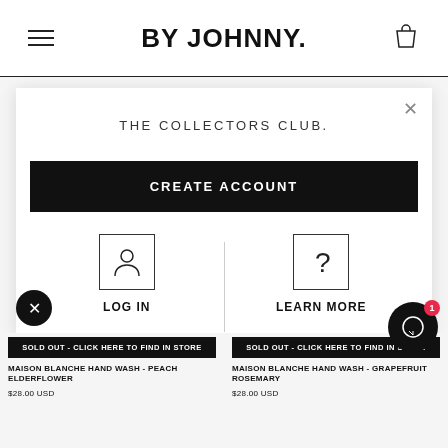BY JOHNNY.
[Figure (screenshot): Modal popup with 'THE COLLECTORS CLUB.' title, CREATE ACCOUNT button, LOG IN and LEARN MORE options]
THE COLLECTORS CLUB.
CREATE ACCOUNT
LOG IN
LEARN MORE
SOLD OUT - CLICK HERE TO FIND IN STORE
MAISON BLANCHE HAND WASH - PEACH ELDERFLOWER
$28.00 USD
SOLD OUT - CLICK HERE TO FIND IN STORE
MAISON BLANCHE HAND WASH - GRAPEFRUIT ROSEMARY
$28.00 USD